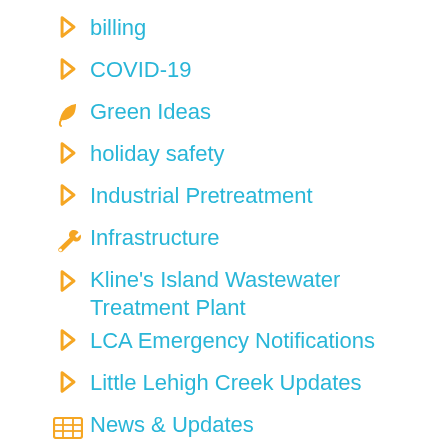billing
COVID-19
Green Ideas
holiday safety
Industrial Pretreatment
Infrastructure
Kline's Island Wastewater Treatment Plant
LCA Emergency Notifications
Little Lehigh Creek Updates
News & Updates
News & Updates